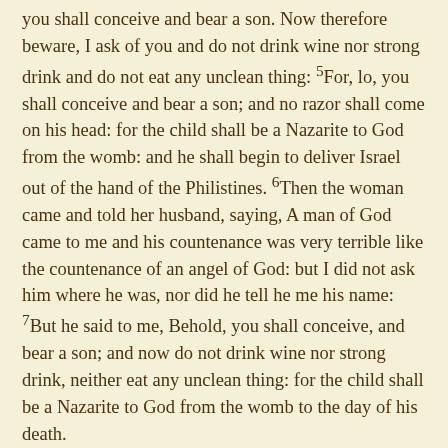you shall conceive and bear a son. Now therefore beware, I ask of you and do not drink wine nor strong drink and do not eat any unclean thing: 5For, lo, you shall conceive and bear a son; and no razor shall come on his head: for the child shall be a Nazarite to God from the womb: and he shall begin to deliver Israel out of the hand of the Philistines. 6Then the woman came and told her husband, saying, A man of God came to me and his countenance was very terrible like the countenance of an angel of God: but I did not ask him where he was, nor did he tell he me his name: 7But he said to me, Behold, you shall conceive, and bear a son; and now do not drink wine nor strong drink, neither eat any unclean thing: for the child shall be a Nazarite to God from the womb to the day of his death.

8Then Manoah asked the LORD and said, O my Lord, let the man of God who you sent come again to us and teach us what we shall do to the child who shall be born. 9And God listened to the voice of Manoah; and the angel of God came again to the woman as she sat in the field: but Manoah her husband was not with her. 10And the woman hurried